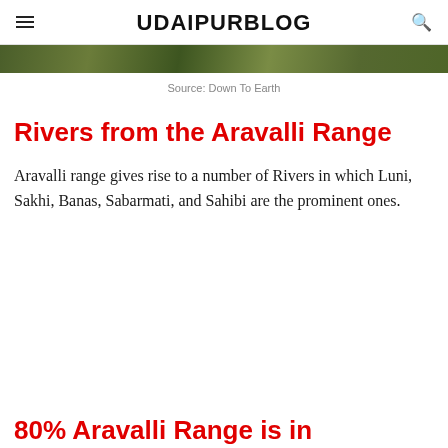UDAIPURBLOG
[Figure (photo): Cropped nature/landscape image, appears to show green foliage or terrain]
Source: Down To Earth
Rivers from the Aravalli Range
Aravalli range gives rise to a number of Rivers in which Luni, Sakhi, Banas, Sabarmati, and Sahibi are the prominent ones.
80% Aravalli Range is in